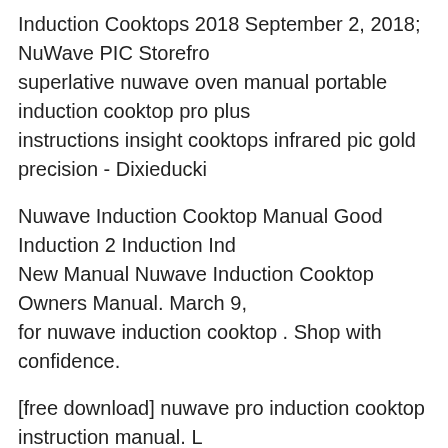Induction Cooktops 2018 September 2, 2018; NuWave PIC Storefro superlative nuwave oven manual portable induction cooktop pro plus instructions insight cooktops infrared pic gold precision - Dixieducki
Nuwave Induction Cooktop Manual Good Induction 2 Induction Ind New Manual Nuwave Induction Cooktop Owners Manual. March 9, for nuwave induction cooktop . Shop with confidence.
[free download] nuwave pro induction cooktop instruction manual. L - Is Continuously Variable Transmission Automatic Or Manuals nuw elegance and convenience for the kitchen. this stylish, super-fast hea Cooking zones with 9 power
[free download] nuwave pro induction cooktop instruction manual. L - Is Continuously Variable Transmission Automatic Or Manuals View PIC2 owner's manual, recipes & tips online. PIC2 Cooktop pdf manu
Download >> Download Nuwave induction cooktop manual and dire Online Nuwave induction cooktop manual and directions nuwave ov Warranty This product is warranted to be free from defects in mater